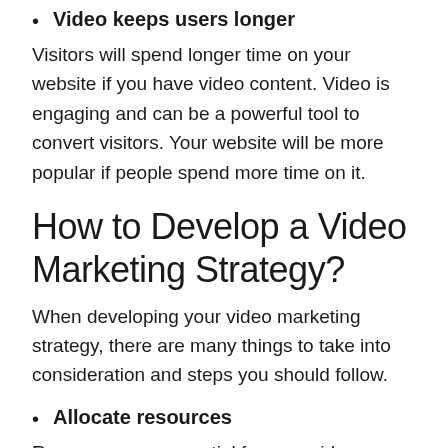Video keeps users longer
Visitors will spend longer time on your website if you have video content. Video is engaging and can be a powerful tool to convert visitors. Your website will be more popular if people spend more time on it.
How to Develop a Video Marketing Strategy?
When developing your video marketing strategy, there are many things to take into consideration and steps you should follow.
Allocate resources
Resources are essential for your video marketing strategy. What can you afford and what will it